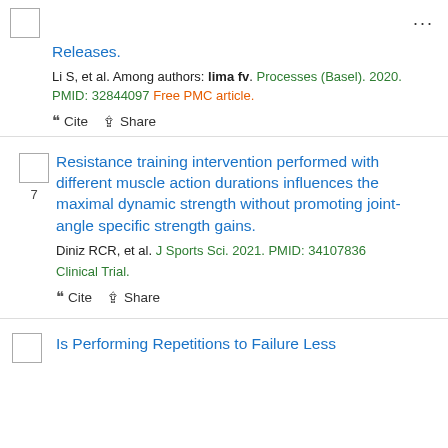... (menu icon)
Releases.
Li S, et al. Among authors: lima fv. Processes (Basel). 2020. PMID: 32844097 Free PMC article.
" Cite  Share
7. Resistance training intervention performed with different muscle action durations influences the maximal dynamic strength without promoting joint-angle specific strength gains.
Diniz RCR, et al. J Sports Sci. 2021. PMID: 34107836 Clinical Trial.
" Cite  Share
Is Performing Repetitions to Failure Less